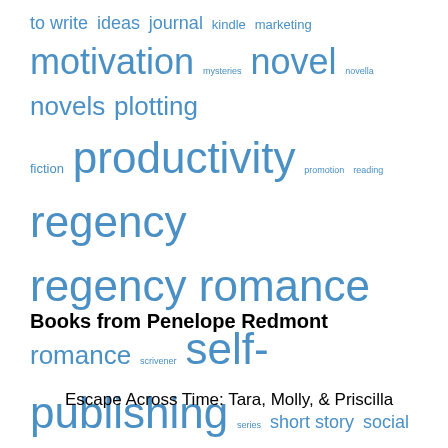to write ideas journal kindle marketing motivation mysteries novel novella novels plotting fiction productivity promotion reading regency regency romance romance scrivener self-publishing series short story social media time management time travel write a novel writer's block writing process writing strategies writing tips
Books from Penelope Redmont
Escape Across Time: Tara, Molly, & Priscilla